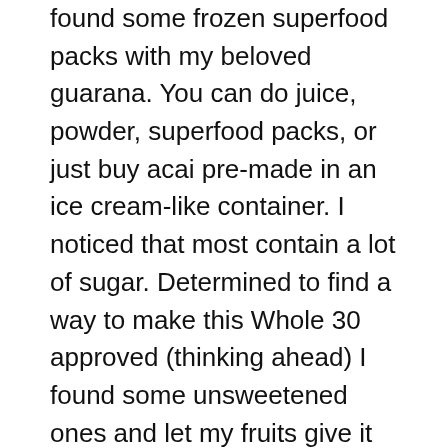found some frozen superfood packs with my beloved guarana. You can do juice, powder, superfood packs, or just buy acai pre-made in an ice cream-like container. I noticed that most contain a lot of sugar. Determined to find a way to make this Whole 30 approved (thinking ahead) I found some unsweetened ones and let my fruits give it the sweetness.

Sambazon is one brand that has a lot of choices. Find some of their products here. If you're doing a Whole 30, powder may be your best bet. I love Navitas Naturals acai powder. Just read your labels, folks. Whole Foods has a ton of acai options.